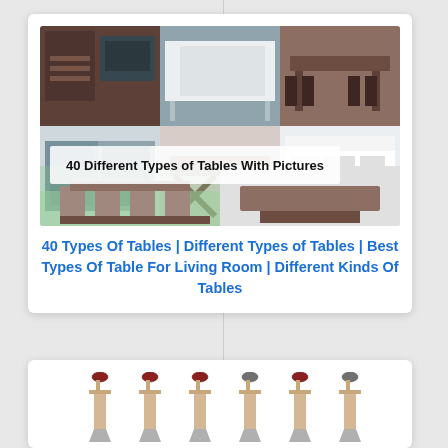[Figure (photo): Collage of 6 photos showing different types of tables (industrial desk, white console table, picnic table, bar table with stools, sideboard, end table, farmhouse dining table, white storage unit, outdoor dining set, modern coffee table) with overlay text '40 Different Types of Tables With Pictures']
40 Types Of Tables | Different Types of Tables | Best Types Of Table For Living Room | Different Kinds Of Tables
[Figure (photo): Six garden/landscaping shovels with D-grip handles shown in a row, alternating between red/brown handled and gray handled varieties]